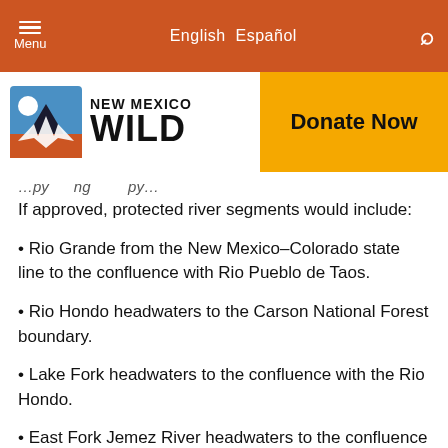Menu   English Español   🔍
[Figure (logo): New Mexico Wild logo with mountain/sun icon and 'NEW MEXICO WILD' text, alongside 'Donate Now' button on golden yellow background]
…py…ng…py…
If approved, protected river segments would include:
• Rio Grande from the New Mexico–Colorado state line to the confluence with Rio Pueblo de Taos.
• Rio Hondo headwaters to the Carson National Forest boundary.
• Lake Fork headwaters to the confluence with the Rio Hondo.
• East Fork Jemez River headwaters to the confluence